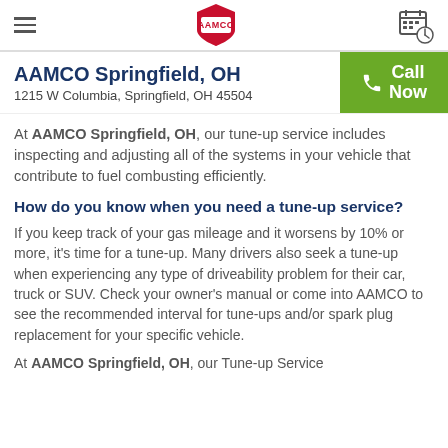AAMCO logo, hamburger menu, calendar icon
AAMCO Springfield, OH
1215 W Columbia, Springfield, OH 45504
Call Now
At AAMCO Springfield, OH, our tune-up service includes inspecting and adjusting all of the systems in your vehicle that contribute to fuel combusting efficiently.
How do you know when you need a tune-up service?
If you keep track of your gas mileage and it worsens by 10% or more, it's time for a tune-up. Many drivers also seek a tune-up when experiencing any type of driveability problem for their car, truck or SUV. Check your owner's manual or come into AAMCO to see the recommended interval for tune-ups and/or spark plug replacement for your specific vehicle.
At AAMCO Springfield, OH, our Tune-up Service